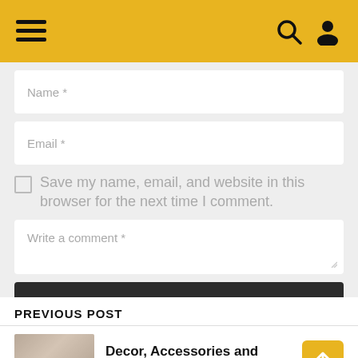Navigation header with hamburger menu, search, and user icons
Name *
Email *
Save my name, email, and website in this browser for the next time I comment.
Write a comment *
POST
PREVIOUS POST
Decor, Accessories and Throw Pillows